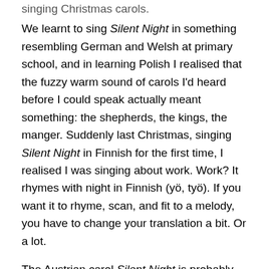singing Christmas carols.
We learnt to sing Silent Night in something resembling German and Welsh at primary school, and in learning Polish I realised that the fuzzy warm sound of carols I'd heard before I could speak actually meant something: the shepherds, the kings, the manger. Suddenly last Christmas, singing Silent Night in Finnish for the first time, I realised I was singing about work. Work? It rhymes with night in Finnish (yö, työ). If you want it to rhyme, scan, and fit to a melody, you have to change your translation a bit. Or a lot.
The Austrian carol Silent Night is probably the most popular worldwide; UNESCO declared it an intangible world cultural heritage two years ago, and it is 195 years old this Christmas Eve. It has been translated into nearly 150 languages. Franz Xaver Gruber's music is